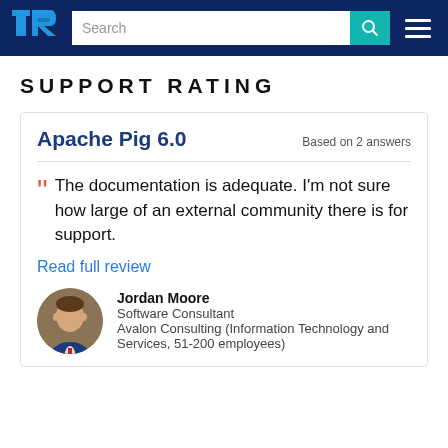TrustRadius — Search bar and navigation header
SUPPORT RATING
Apache Pig 6.0
Based on 2 answers
The documentation is adequate. I'm not sure how large of an external community there is for support.
Read full review
Jordan Moore
Software Consultant
Avalon Consulting (Information Technology and Services, 51-200 employees)